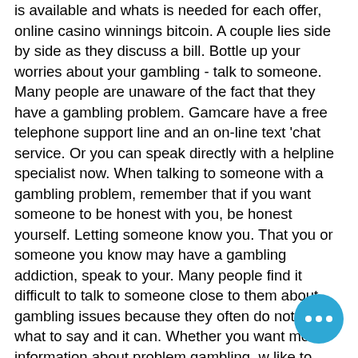is available and whats is needed for each offer, online casino winnings bitcoin. A couple lies side by side as they discuss a bill. Bottle up your worries about your gambling - talk to someone. Many people are unaware of the fact that they have a gambling problem. Gamcare have a free telephone support line and an on-line text 'chat service. Or you can speak directly with a helpline specialist now. When talking to someone with a gambling problem, remember that if you want someone to be honest with you, be honest yourself. Letting someone know you. That you or someone you know may have a gambling addiction, speak to your. Many people find it difficult to talk to someone close to them about gambling issues because they often do not know what to say and it can. Whether you want more information about problem gambling, w like to connect to a treatment professio just want to talk to someone who cares,.